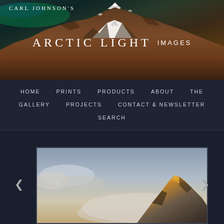[Figure (photo): Mountain landscape header photo with aurora borealis in upper left, snowy mountain peaks, rocky brown mountainside]
CARL JOHNSON'S ARCTIC LIGHT IMAGES
HOME  PRINTS  PRODUCTS  ABOUT  THE GALLERY  PROJECTS  CONTACT & NEWSLETTER  SEARCH
[Figure (photo): Landscape photograph of a mountain peak illuminated by golden sunset light, emerging from mist and clouds, dramatic sky]